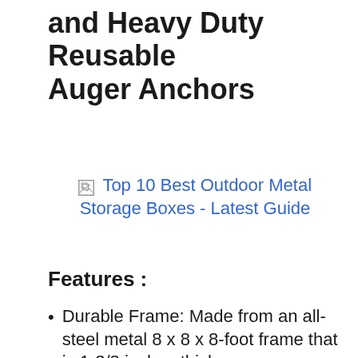Shed with Waterproof Cover and Heavy Duty Reusable Auger Anchors
[Figure (other): Broken image placeholder with link: Top 10 Best Outdoor Metal Storage Boxes - Latest Guide]
Features :
Durable Frame: Made from an all-steel metal 8 x 8 x 8-foot frame that is 1-3/8 inches thick
Made to Last: Bonded with a premium powder-coated finish that prevents chipping, peeling, rust, and corrosion
Waterproof Coverage: Grey cover is...